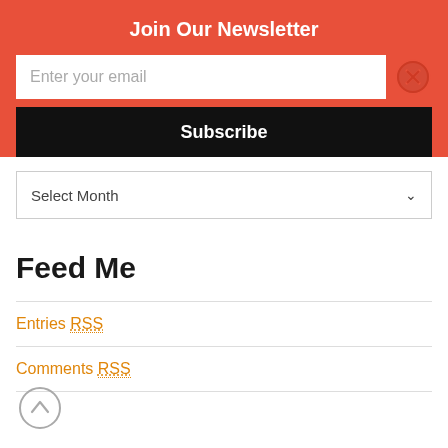Join Our Newsletter
Enter your email
Subscribe
Select Month
Feed Me
Entries RSS
Comments RSS